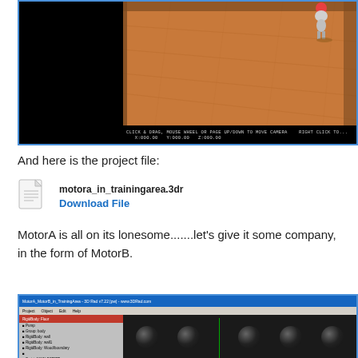[Figure (screenshot): 3D rendering of a bowling alley scene with a black left panel and a wooden floor with a robot figure standing on it. Status bar at bottom shows camera coordinates.]
And here is the project file:
[Figure (other): File icon for motora_in_trainingarea.3dr with a Download File link]
MotorA is all on its lonesome.......let's give it some company, in the form of MotorB.
[Figure (screenshot): 3D Rad software interface showing MotorA_MotorB_in_TrainingArea project with sidebar panel and 3D viewport showing dark spheres arranged in a row]